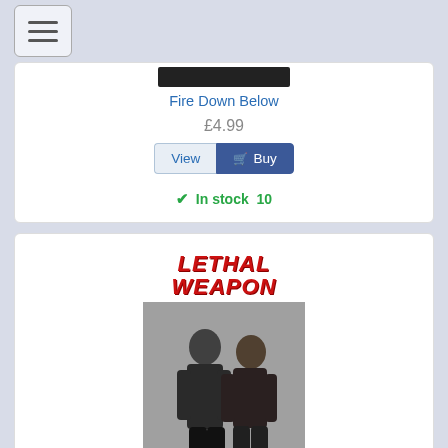[Figure (screenshot): Partial product card for Fire Down Below - black image strip at top]
Fire Down Below
£4.99
View  Buy
✓ In stock  10
[Figure (photo): Lethal Weapon TV show promotional image showing two male actors walking, with LETHAL WEAPON title text in red italic]
Lethal Weapon
£9.01
View  Buy
Manage services  7